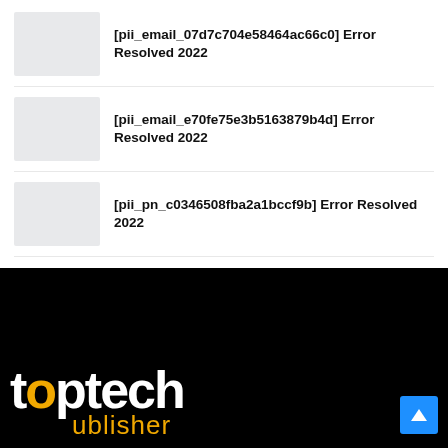[pii_email_07d7c704e58464ac66c0] Error Resolved 2022
[pii_email_e70fe75e3b5163879b4d] Error Resolved 2022
[pii_pn_c0346508fba2a1bccf9b] Error Resolved 2022
[Figure (logo): toptech publisher logo in white and gold/orange on black background]